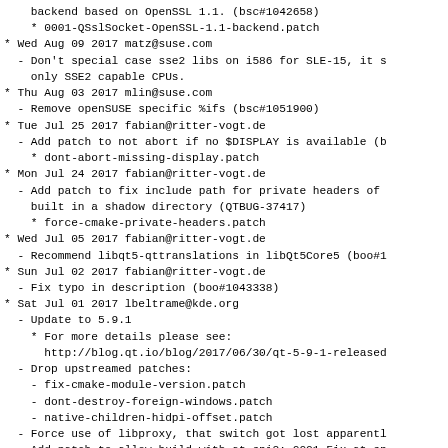backend based on OpenSSL 1.1. (bsc#1042658)
    * 0001-QSslSocket-OpenSSL-1.1-backend.patch
* Wed Aug 09 2017 matz@suse.com
  - Don't special case sse2 libs on i586 for SLE-15, it s
    only SSE2 capable CPUs.
* Thu Aug 03 2017 mlin@suse.com
  - Remove openSUSE specific %ifs (bsc#1051900)
* Tue Jul 25 2017 fabian@ritter-vogt.de
  - Add patch to not abort if no $DISPLAY is available (b
    * dont-abort-missing-display.patch
* Mon Jul 24 2017 fabian@ritter-vogt.de
  - Add patch to fix include path for private headers of
    built in a shadow directory (QTBUG-37417)
    * force-cmake-private-headers.patch
* Wed Jul 05 2017 fabian@ritter-vogt.de
  - Recommend libqt5-qttranslations in libQt5Core5 (boo#1
* Sun Jul 02 2017 fabian@ritter-vogt.de
  - Fix typo in description (boo#1043338)
* Sat Jul 01 2017 lbeltrame@kde.org
  - Update to 5.9.1
    * For more details please see:
      http://blog.qt.io/blog/2017/06/30/qt-5-9-1-released
  - Drop upstreamed patches:
    - fix-cmake-module-version.patch
    - dont-destroy-foreign-windows.patch
    - native-children-hidpi-offset.patch
  - Force use of libproxy, that switch got lost apparentl
  - Add patch to allow build with at-spi2: 0001-Fix-at-sp
* Thu Jun 22 2017 fabian@ritter-vogt.de
  - Use the correct (edited) version of the revert to not